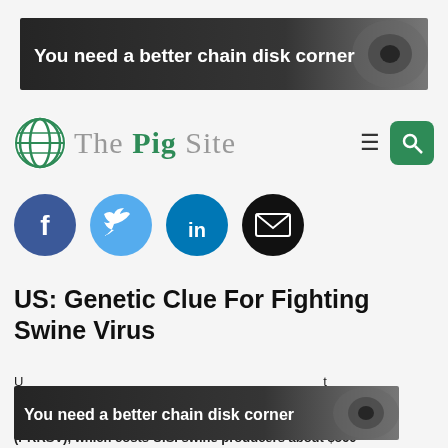[Figure (screenshot): Advertisement banner: dark background with text 'You need a better chain disk corner' and machinery image on right]
[Figure (logo): The Pig Site logo with green globe icon and site name, plus hamburger menu and search button]
[Figure (infographic): Social media share buttons: Facebook (dark blue), Twitter (light blue), LinkedIn (blue), Email (black)]
US: Genetic Clue For Fighting Swine Virus
US - Scientists have identified a genetic clue that may help fight one of the most costly of ... (PRRSV), which costs U.S. swine producers about $560
[Figure (screenshot): Advertisement banner overlay: dark background with text 'You need a better chain disk corner' and machinery image on right]